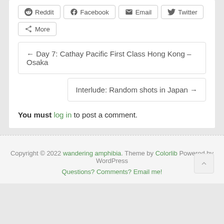Reddit
Facebook
Email
Twitter
More
← Day 7: Cathay Pacific First Class Hong Kong – Osaka
Interlude: Random shots in Japan →
You must log in to post a comment.
Copyright © 2022 wandering amphibia. Theme by Colorlib Powered by WordPress
Questions? Comments? Email me!